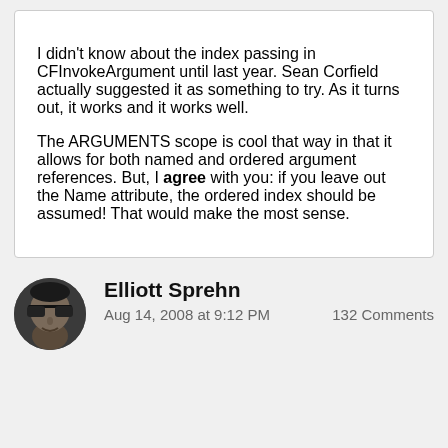I didn't know about the index passing in CFInvokeArgument until last year. Sean Corfield actually suggested it as something to try. As it turns out, it works and it works well.

The ARGUMENTS scope is cool that way in that it allows for both named and ordered argument references. But, I agree with you: if you leave out the Name attribute, the ordered index should be assumed! That would make the most sense.
Elliott Sprehn
Aug 14, 2008 at 9:12 PM
132 Comments